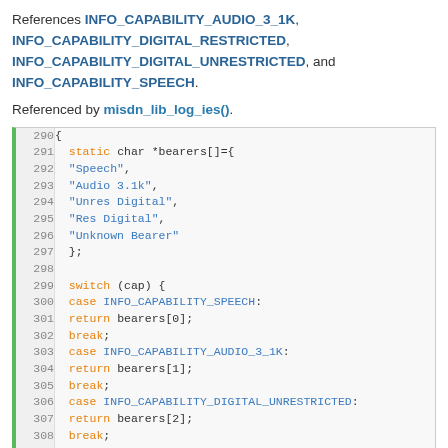References INFO_CAPABILITY_AUDIO_3_1K, INFO_CAPABILITY_DIGITAL_RESTRICTED, INFO_CAPABILITY_DIGITAL_UNRESTRICTED, and INFO_CAPABILITY_SPEECH.
Referenced by misdn_lib_log_ies().
[Figure (screenshot): C source code listing showing lines 290-313 with syntax highlighting. Keywords in orange, string literals in blue, identifiers in dark. Code shows static char array 'bearers' and switch statement on 'cap' with cases for INFO_CAPABILITY_SPEECH, INFO_CAPABILITY_AUDIO_3_1K, INFO_CAPABILITY_DIGITAL_UNRESTRICTED, INFO_CAPABILITY_DIGITAL_RESTRICTED, and default.]